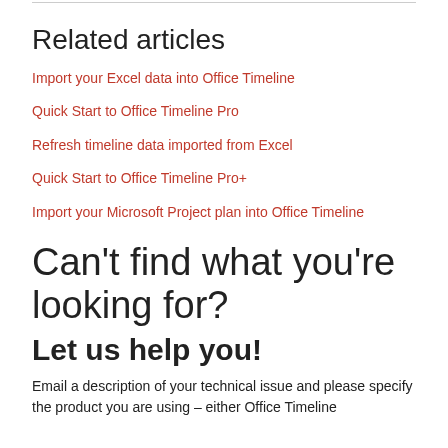Related articles
Import your Excel data into Office Timeline
Quick Start to Office Timeline Pro
Refresh timeline data imported from Excel
Quick Start to Office Timeline Pro+
Import your Microsoft Project plan into Office Timeline
Can't find what you're looking for?
Let us help you!
Email a description of your technical issue and please specify the product you are using – either Office Timeline